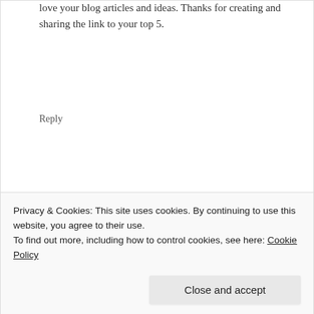love your blog articles and ideas. Thanks for creating and sharing the link to your top 5.
Reply
STEPHANIE SHERLOCK SAYS
October 24, 2017 at 4:21 pm
[Figure (photo): Avatar photo of Stephanie Sherlock]
What a great idea and way to create consumer
Privacy & Cookies: This site uses cookies. By continuing to use this website, you agree to their use.
To find out more, including how to control cookies, see here: Cookie Policy
Close and accept